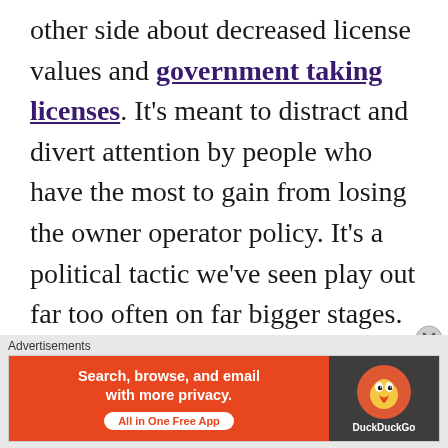other side about decreased license values and government taking licenses. It's meant to distract and divert attention by people who have the most to gain from losing the owner operator policy. It's a political tactic we've seen play out far too often on far bigger stages. I think fishermen are smarter than that. I think they've watched fleets and opportunities disappear from their
[Figure (screenshot): DuckDuckGo advertisement banner with orange left side reading 'Search, browse, and email with more privacy. All in One Free App' and dark right side with DuckDuckGo logo]